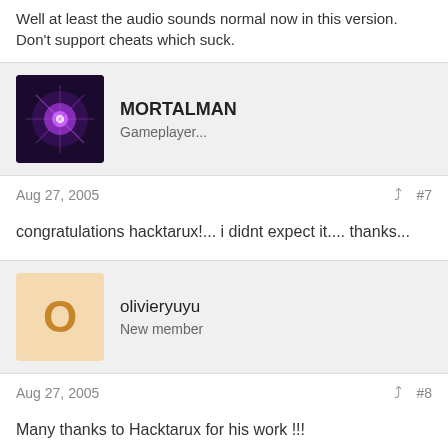Well at least the audio sounds normal now in this version. Don't support cheats which suck.
MORTALMAN
Gameplayer...
Aug 27, 2005  #7
congratulations hacktarux!... i didnt expect it.... thanks...
olivieryuyu
New member
Aug 27, 2005  #8
Many thanks to Hacktarux for his work !!!

It's EXTREMELY recommended to use Azimer 's plugins !!!!